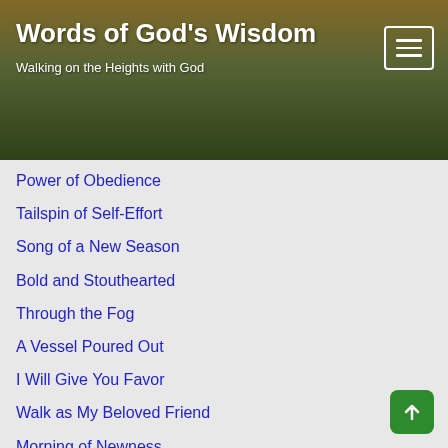Words of God's Wisdom
Walking on the Heights with God
Power of Obedience
Tailspin of Self-Effort
Song of a New Season
Bold and Stouthearted
Through the Fog
A Vessel Poured Out
I Will Give You Favor
Walk as My Beloved Friend
Morning of Newness
The Intimate Comforter
Even With Your Life
A Greater Way
Keep Not Yourself to Yourself